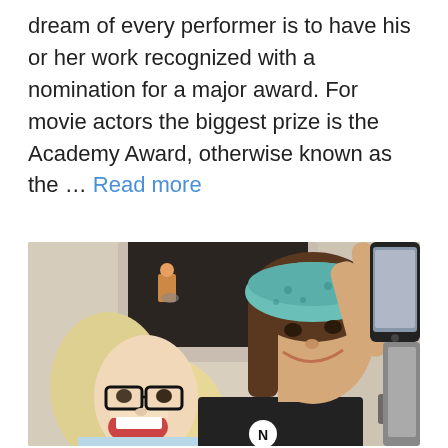dream of every performer is to have his or her work recognized with a nomination for a major award. For movie actors the biggest prize is the Academy Award, otherwise known as the … Read more
[Figure (photo): Two young women laughing and taking a selfie with a smartphone. The woman on the right is wearing a teal blue bandana on her head and a black t-shirt, reaching up to hold the phone. The woman on the left has blonde hair and glasses, laughing with mouth open. They are indoors near a fireplace.]